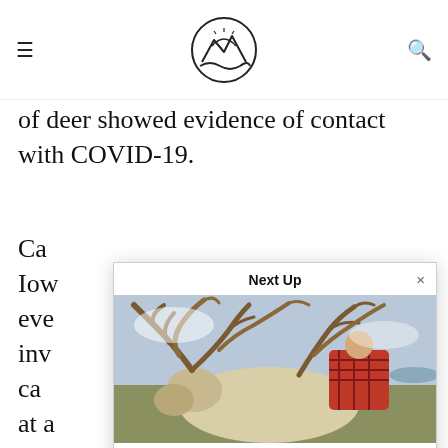[ hamburger menu ] [ mountain/wave logo ] [ search icon ]
of deer showed evidence of contact with COVID-19.
Ca
Iow
eve
inv
ca
at a
inf
po
va
Next Up
[Figure (photo): A hunter posing with a giant woodland caribou with large antlers, lying on tundra ground.]
Virginia Hunter Kills Giant Woodland Caribou in Newfoundland Backcountry
vapedeal • November 24, 2021